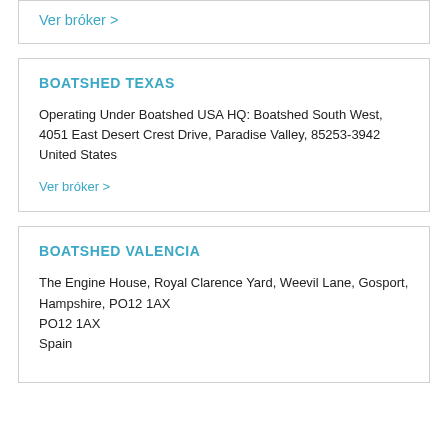Ver bróker >
BOATSHED TEXAS
Operating Under Boatshed USA HQ: Boatshed South West, 4051 East Desert Crest Drive, Paradise Valley, 85253-3942
United States
Ver bróker >
BOATSHED VALENCIA
The Engine House, Royal Clarence Yard, Weevil Lane, Gosport, Hampshire, PO12 1AX
PO12 1AX
Spain